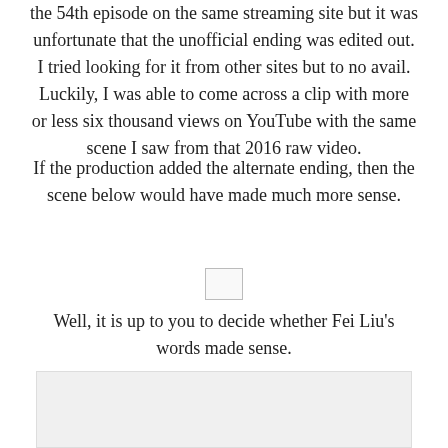the 54th episode on the same streaming site but it was unfortunate that the unofficial ending was edited out. I tried looking for it from other sites but to no avail. Luckily, I was able to come across a clip with more or less six thousand views on YouTube with the same scene I saw from that 2016 raw video.
If the production added the alternate ending, then the scene below would have made much more sense.
[Figure (photo): Small placeholder image box]
Well, it is up to you to decide whether Fei Liu's words made sense.
Sharing everyone GIF's of that magical unofficial ending. Enjoy!
[Figure (photo): Bottom image placeholder, partially visible]